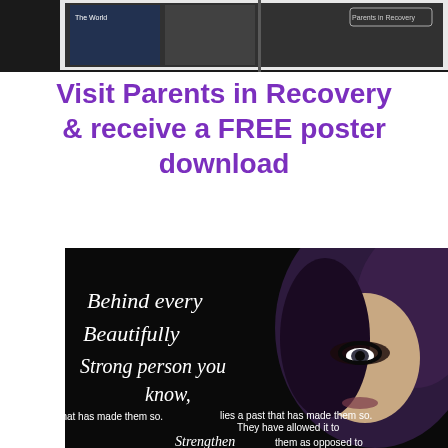[Figure (screenshot): Screenshot of a social media page showing 'Parents in Recovery' with thumbnail images]
Visit Parents in Recovery & receive a FREE poster download
[Figure (photo): Dark motivational poster image featuring a woman's face with dramatic makeup and white cursive/script text reading: 'Behind every Beautifully Strong person you know, lies a past that has made them so. They have allowed it to Strengthen them as opposed to']